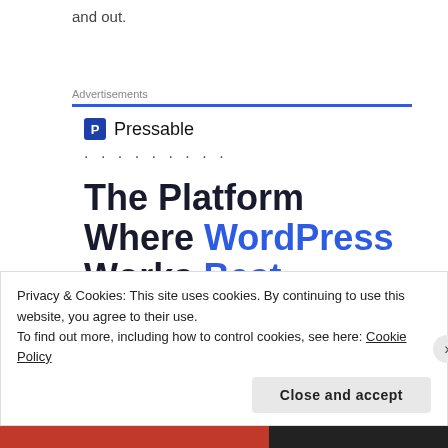and out.
Advertisements
[Figure (logo): Pressable logo with blue square icon containing letter P and text 'Pressable']
The Platform Where WordPress Works Best
[Figure (other): SEE PRICING blue button]
Privacy & Cookies: This site uses cookies. By continuing to use this website, you agree to their use.
To find out more, including how to control cookies, see here: Cookie Policy
Close and accept